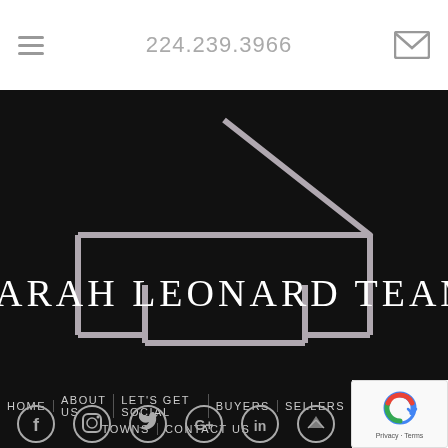224.239.3966
[Figure (logo): Sarah Leonard Team logo: house outline shape in gray on black background, with 'SARAH LEONARD TEAM' text below in white serif letters]
HOME | ABOUT US | LET'S GET SOCIAL | BUYERS | SELLERS | TOWNS | CONTACT US
[Figure (illustration): Social media icons row: Facebook, Instagram, Twitter, Google+, LinkedIn, and another icon — white circular outlines on black background]
[Figure (other): reCAPTCHA badge with Google reCAPTCHA logo, Privacy and Terms text]